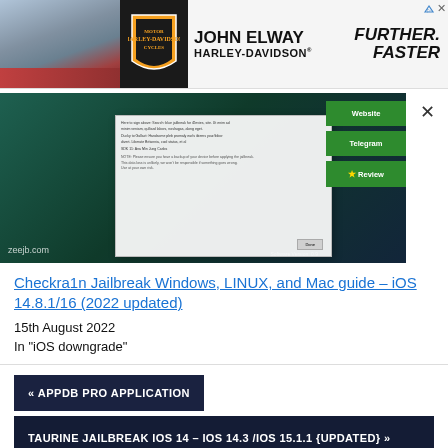[Figure (photo): John Elway Harley-Davidson advertisement banner with motorcycle and 'Further. Faster.' slogan]
[Figure (screenshot): Screenshot of Checkra1n jailbreak tool on a dark background with a dialog box and green panel buttons, watermark zeejb.com]
Checkra1n Jailbreak Windows, LINUX, and Mac guide – iOS 14.8.1/16 (2022 updated)
15th August 2022
In "iOS downgrade"
« APPDB PRO APPLICATION
TAURINE JAILBREAK IOS 14 – IOS 14.3 /IOS 15.1.1 {UPDATED} »